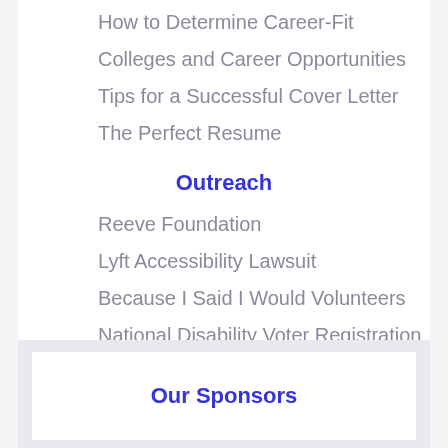How to Determine Career-Fit
Colleges and Career Opportunities
Tips for a Successful Cover Letter
The Perfect Resume
Outreach
Reeve Foundation
Lyft Accessibility Lawsuit
Because I Said I Would Volunteers
National Disability Voter Registration Week
Vote with Heart!
Triumph Foundation
Our Sponsors